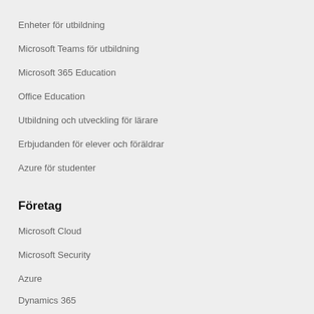Enheter för utbildning
Microsoft Teams för utbildning
Microsoft 365 Education
Office Education
Utbildning och utveckling för lärare
Erbjudanden för elever och föräldrar
Azure för studenter
Företag
Microsoft Cloud
Microsoft Security
Azure
Dynamics 365
Microsoft 365